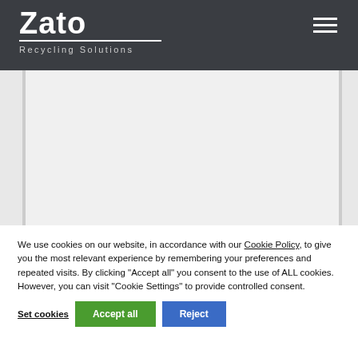and processing plants
[Figure (logo): Zato Recycling Solutions logo in white on dark grey background with hamburger menu icon]
[Figure (photo): White/blank content area below navigation header]
We use cookies on our website, in accordance with our Cookie Policy, to give you the most relevant experience by remembering your preferences and repeated visits. By clicking "Accept all" you consent to the use of ALL cookies. However, you can visit "Cookie Settings" to provide controlled consent.
Set cookies   Accept all   Reject